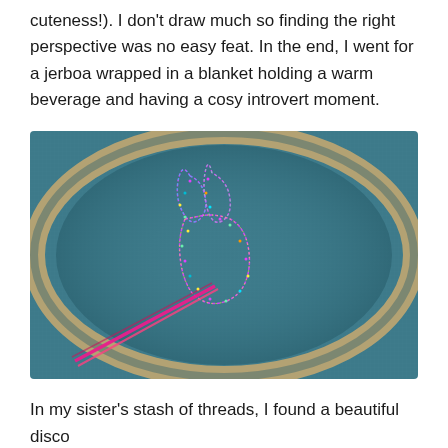cuteness!). I don't draw much so finding the right perspective was no easy feat. In the end, I went for a jerboa wrapped in a blanket holding a warm beverage and having a cosy introvert moment.
[Figure (photo): Close-up photo of an embroidery hoop with teal/blue fabric showing an outline of a jerboa figure stitched with multicolored metallic thread. A strand of bright pink thread lies diagonally across the lower left of the fabric. The hoop has a natural wood-colored rim visible at the edges.]
In my sister's stash of threads, I found a beautiful disco